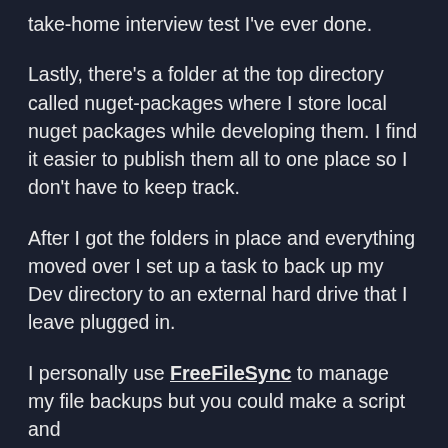take-home interview test I've ever done.
Lastly, there's a folder at the top directory called nuget-packages where I store local nuget packages while developing them. I find it easier to publish them all to one place so I don't have to keep track.
After I got the folders in place and everything moved over I set up a task to back up my Dev directory to an external hard drive that I leave plugged in.
I personally use FreeFileSync to manage my file backups but you could make a script and